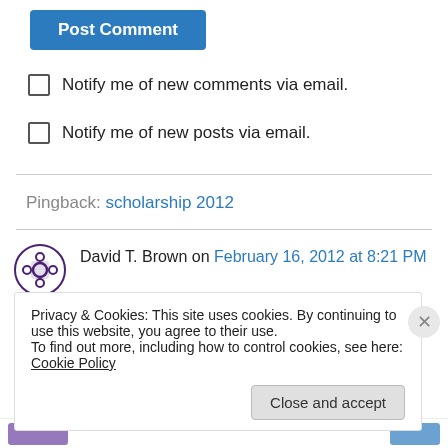[Figure (other): Blue 'Post Comment' button]
Notify me of new comments via email.
Notify me of new posts via email.
Pingback: scholarship 2012
David T. Brown on February 16, 2012 at 8:21 PM
Dave,
Privacy & Cookies: This site uses cookies. By continuing to use this website, you agree to their use. To find out more, including how to control cookies, see here: Cookie Policy
Close and accept